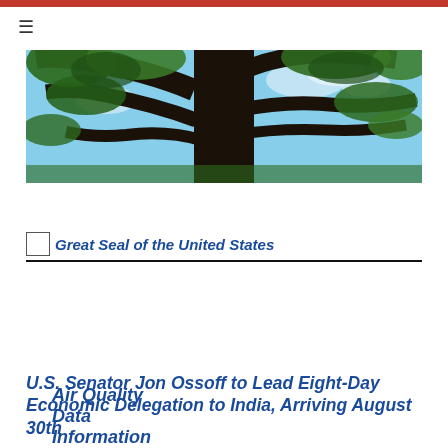[Figure (photo): Upward view of a large oak tree with dark twisted branches against a partly cloudy blue sky, with green foliage visible]
Air Quality Data Information
[Figure (logo): Great Seal of the United States placeholder image icon followed by text 'Great Seal of the United States']
U.S. Senator Jon Ossoff to Lead Eight-Day Economic Delegation to India, Arriving August 30th